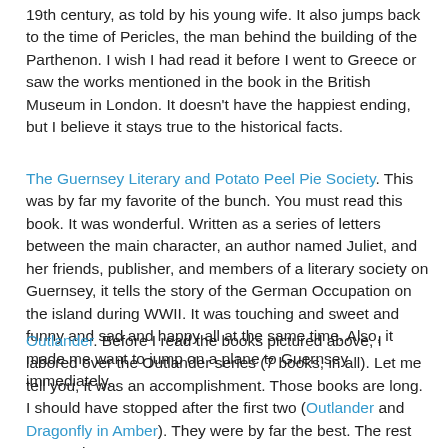19th century, as told by his young wife. It also jumps back to the time of Pericles, the man behind the building of the Parthenon. I wish I had read it before I went to Greece or saw the works mentioned in the book in the British Museum in London. It doesn't have the happiest ending, but I believe it stays true to the historical facts.
The Guernsey Literary and Potato Peel Pie Society. This was by far my favorite of the bunch. You must read this book. It was wonderful. Written as a series of letters between the main character, an author named Juliet, and her friends, publisher, and members of a literary society on Guernsey, it tells the story of the German Occupation on the island during WWII. It was touching and sweet and funny and sad and happy all at the same time. Also, it made me want to jump on a plane to Guernsey immediately.
Outlander. Before I read the books pictured above, I labored over the Outlander series (7 books, in all). Let me tell you, it was an accomplishment. Those books are long. I should have stopped after the first two (Outlander and Dragonfly in Amber). They were by far the best. The rest were rather